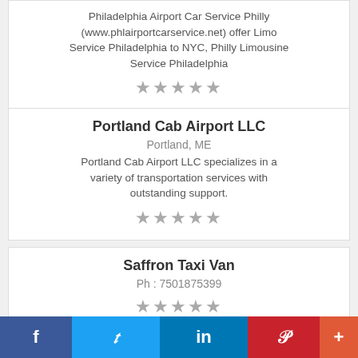Philadelphia Airport Car Service Philly (www.phlairportcarservice.net) offer Limo Service Philadelphia to NYC, Philly Limousine Service Philadelphia
★★★★★
Portland Cab Airport LLC
Portland, ME
Portland Cab Airport LLC specializes in a variety of transportation services with outstanding support.
★★★★★
Saffron Taxi Van
Ph : 7501875399
★★★★★
f  t  in  P  +